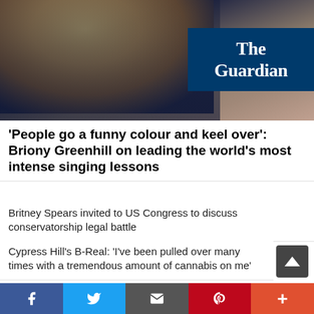[Figure (photo): Photo of a blond woman against a dark background with The Guardian logo overlay in the top right]
'People go a funny colour and keel over': Briony Greenhill on leading the world's most intense singing lessons
Britney Spears invited to US Congress to discuss conservatorship legal battle
Cypress Hill's B-Real: 'I've been pulled over many times with a tremendous amount of cannabis on me'
Melt Yourself Down: Pray for Me I Don't Fit In review | Alexis Petridis's album of the week
Record Store Day is harming, not helping, independent music shops like mine
OAE/Manacorda/Faust review – nimble brilliance and refined care
Jeen-Yuhs: A Kanye Trilogy review – a heartwarming,